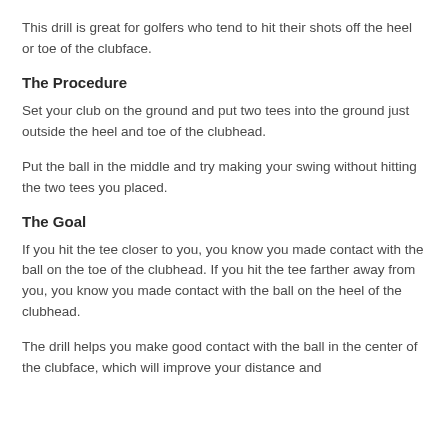This drill is great for golfers who tend to hit their shots off the heel or toe of the clubface.
The Procedure
Set your club on the ground and put two tees into the ground just outside the heel and toe of the clubhead.
Put the ball in the middle and try making your swing without hitting the two tees you placed.
The Goal
If you hit the tee closer to you, you know you made contact with the ball on the toe of the clubhead. If you hit the tee farther away from you, you know you made contact with the ball on the heel of the clubhead.
The drill helps you make good contact with the ball in the center of the clubface, which will improve your distance and